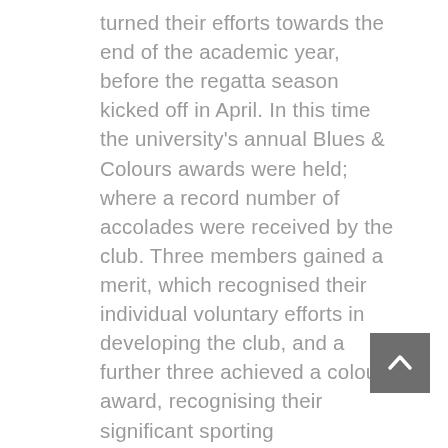turned their efforts towards the end of the academic year, before the regatta season kicked off in April. In this time the university's annual Blues & Colours awards were held; where a record number of accolades were received by the club. Three members gained a merit, which recognised their individual voluntary efforts in developing the club, and a further three achieved a colour award, recognising their significant sporting achievement over the past year. In addition, our Club Captain Eleanor Brinkhoff was honoured with the Graham Healy Student Coach of the Year trophy, to recognise her dedication in elevating the standard of rowing within the University of Dundee. On top of this fantastic array of accolades, the club was further celebrated
[Figure (other): A dark grey scroll-to-top button with a chevron/arrow pointing upward]